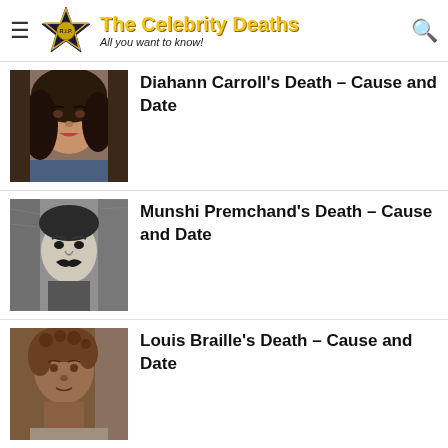The Celebrity Deaths – All you want to know!
Diahann Carroll's Death – Cause and Date
Munshi Premchand's Death – Cause and Date
Louis Braille's Death – Cause and Date